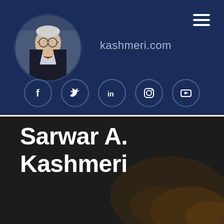[Figure (photo): Circular profile photo of an elderly man wearing glasses and a bow tie, in a dark navy header section]
kashmeri.com
[Figure (infographic): Hamburger menu icon (three horizontal white lines) in top right corner]
[Figure (infographic): Row of five social media icons in circles: Facebook, Twitter, LinkedIn, Instagram, YouTube]
Sarwar A. Kashmeri